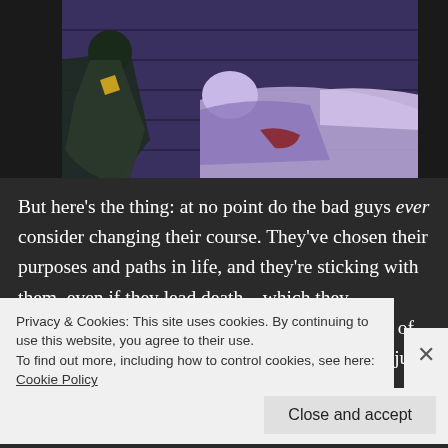[Figure (illustration): Anime screenshot showing characters in a dark purple/blue scene, appears to show characters in combat or dramatic scene]
But here’s the thing: at no point do the bad guys ever consider changing their course. They’ve chosen their purposes and paths in life, and they’re sticking with them, even if they lead death…which they ultimately do. This only represents the midpoint of Chaika’s journey, which I’m glad about, and not just because there’s a lot more remains to find, but because the
Privacy & Cookies: This site uses cookies. By continuing to use this website, you agree to their use.
To find out more, including how to control cookies, see here: Cookie Policy
Close and accept